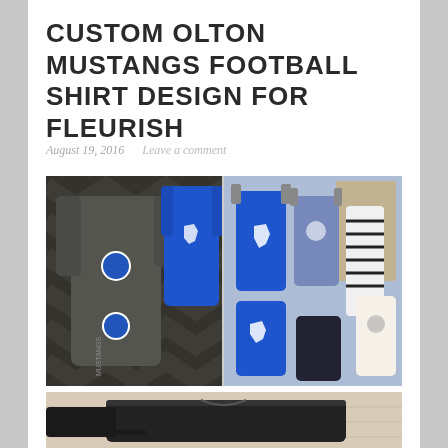CUSTOM OLTON MUSTANGS FOOTBALL SHIRT DESIGN FOR FLEURISH
August 19, 2016    Leave a comment
[Figure (photo): Two side-by-side photos of a boutique store displaying Olton Mustangs football shirts. Left photo shows dark grey athletic shirts on a rack. Right photo shows bright blue and grey shirts hanging in a store with colorful merchandise in background.]
[Figure (photo): Close-up photo of a folded dark/black t-shirt on a light wood surface.]